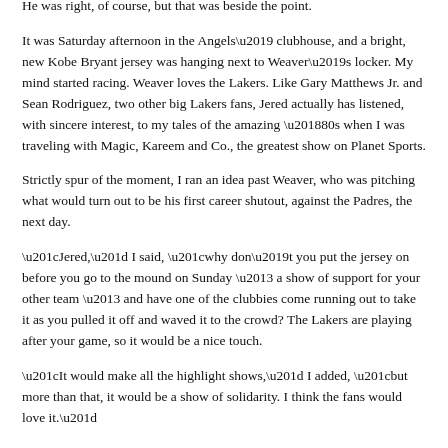He was right, of course, but that was beside the point.
It was Saturday afternoon in the Angels' clubhouse, and a bright, new Kobe Bryant jersey was hanging next to Weaver's locker. My mind started racing. Weaver loves the Lakers. Like Gary Matthews Jr. and Sean Rodriguez, two other big Lakers fans, Jered actually has listened, with sincere interest, to my tales of the amazing '80s when I was traveling with Magic, Kareem and Co., the greatest show on Planet Sports.
Strictly spur of the moment, I ran an idea past Weaver, who was pitching what would turn out to be his first career shutout, against the Padres, the next day.
“Jered,” I said, “why don’t you put the jersey on  before you go to the mound on Sunday – a show of support for your other team – and have one of the clubbies come running out to take it as you pulled it off and waved it to the crowd? The Lakers are playing after your game, so it would be a nice touch.
“It would make all the highlight shows,” I added, “but more than that, it would be a show of solidarity. I think the fans would love it.”